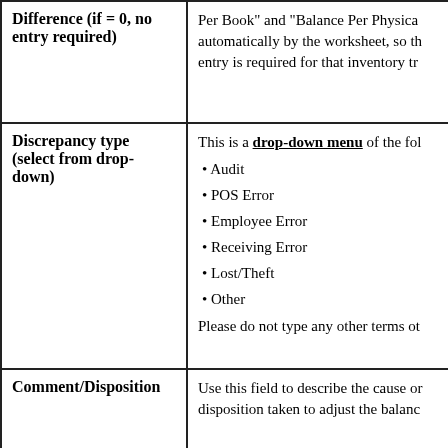| Field | Description |
| --- | --- |
| Difference (if = 0, no entry required) | Per Book" and "Balance Per Physical" automatically by the worksheet, so that no entry is required for that inventory tr... |
| Discrepancy type (select from drop-down) | This is a drop-down menu of the fol...
• Audit
• POS Error
• Employee Error
• Receiving Error
• Lost/Theft
• Other
Please do not type any other terms ot... |
| Comment/Disposition | Use this field to describe the cause or disposition taken to adjust the balanc... |